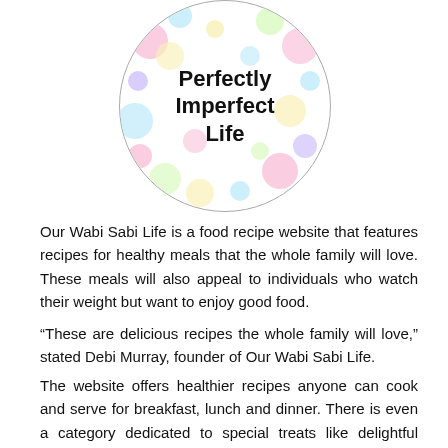[Figure (logo): Circular logo with colorful polka dots background and bold text reading 'Perfectly Imperfect Life']
Our Wabi Sabi Life is a food recipe website that features recipes for healthy meals that the whole family will love. These meals will also appeal to individuals who watch their weight but want to enjoy good food.
“These are delicious recipes the whole family will love,” stated Debi Murray, founder of Our Wabi Sabi Life.
The website offers healthier recipes anyone can cook and serve for breakfast, lunch and dinner. There is even a category dedicated to special treats like delightful desserts. These recipes create meals that people will feel good feeding their families.